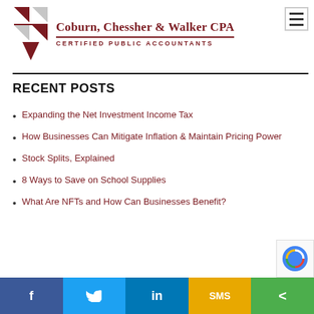[Figure (logo): Coburn, Chessher & Walker CPAs logo with cross/plus icon and text 'CERTIFIED PUBLIC ACCOUNTANTS']
RECENT POSTS
Expanding the Net Investment Income Tax
How Businesses Can Mitigate Inflation & Maintain Pricing Power
Stock Splits, Explained
8 Ways to Save on School Supplies
What Are NFTs and How Can Businesses Benefit?